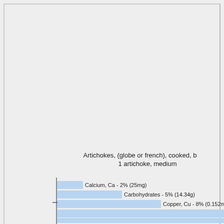[Figure (bar-chart): Artichokes, (globe or french), cooked, b... 1 artichoke, medium]